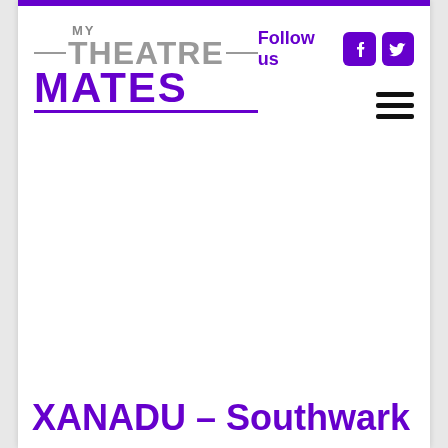[Figure (logo): My Theatre Mates logo with grey outlined text for 'MY' and 'THEATRE' and bold purple text for 'MATES', with a purple underline]
Follow us
XANADU – Southwark